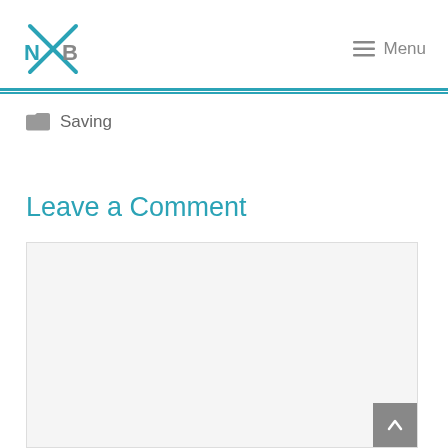NB logo | Menu
Saving
Leave a Comment